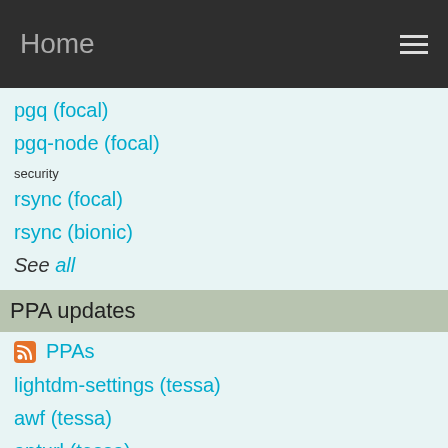Home
pgq (focal)
pgq-node (focal)
security
rsync (focal)
rsync (bionic)
See all
PPA updates
PPAs
lightdm-settings (tessa)
awf (tessa)
apturl (tessa)
rhythmbox-plugin-tray-icon (tessa)
mint-backgrounds-petra (tessa)
mint-backgrounds-qiana (tessa)
mint-backgrounds-rafaela (tessa)
mint-backgrounds-rosa (tessa)
mint-backgrounds-sarah (tessa)
mint-backgrounds-serena (tessa)